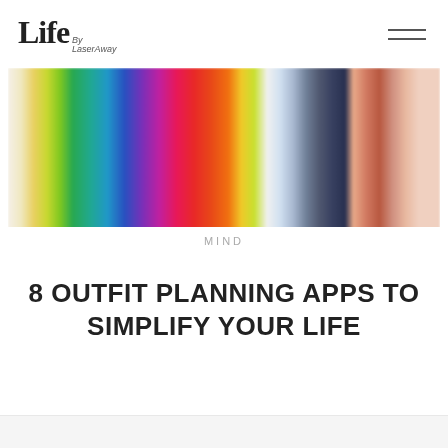Life By LaserAway
[Figure (photo): Colorful clothing items hanging in a closet, arranged in a rainbow of colors from yellow, green, teal, blue, purple, pink, red, orange on the left side, to neutral whites and dark navy/denim on the right side. The image is slightly blurred/bokeh.]
MIND
8 OUTFIT PLANNING APPS TO SIMPLIFY YOUR LIFE